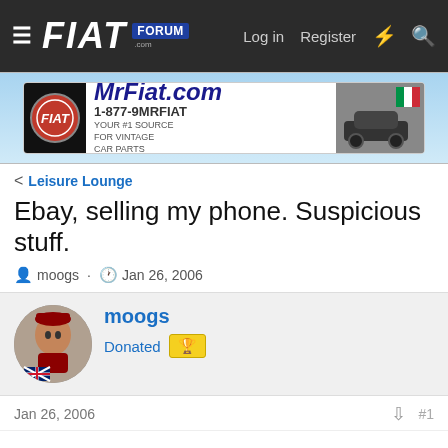FIAT FORUM — Log in  Register
[Figure (illustration): MrFiat.com advertisement banner: logo circle with FIAT badge, text MrFiat.com Your #1 Source for Vintage Car Parts 1-877-9MRFIAT, photo of vintage Fiat car]
< Leisure Lounge
Ebay, selling my phone. Suspicious stuff.
moogs · Jan 26, 2006
moogs
Donated 🏆
Jan 26, 2006  #1
Hiya kids,

So I'm selling my Z500 on ebay and I put a buy it now option on the listing.
It got bought within an hour but then nothing from the buyer for two days despite me sending a plite note with the invoice offering them help if they needed it (since their feedback was 0)